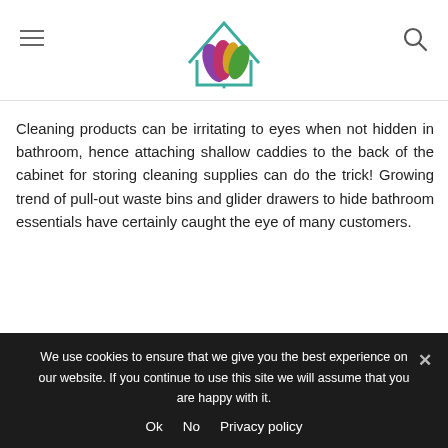Cleaning products can be irritating to eyes when not hidden in bathroom, hence attaching shallow caddies to the back of the cabinet for storing cleaning supplies can do the trick! Growing trend of pull-out waste bins and glider drawers to hide bathroom essentials have certainly caught the eye of many customers.
-
We use cookies to ensure that we give you the best experience on our website. If you continue to use this site we will assume that you are happy with it. Ok No Privacy policy